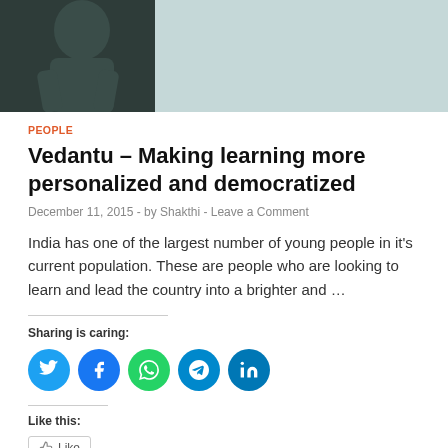[Figure (photo): Hero image showing a person in dark clothing against a light blue-grey background]
PEOPLE
Vedantu – Making learning more personalized and democratized
December 11, 2015  -  by Shakthi  -  Leave a Comment
India has one of the largest number of young people in it's current population. These are people who are looking to learn and lead the country into a brighter and …
Sharing is caring:
[Figure (infographic): Social sharing buttons: Twitter, Facebook, WhatsApp, Telegram, LinkedIn]
Like this:
[Figure (infographic): Like button]